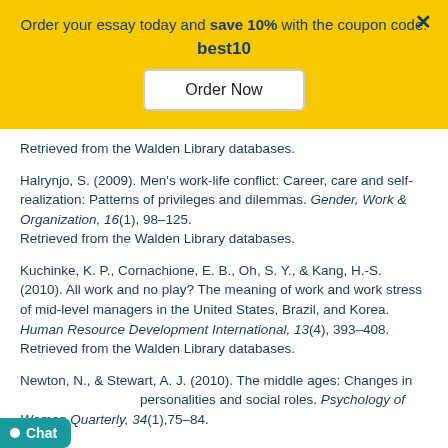Order your essay today and save 10% with the coupon code: best10
Order Now
Retrieved from the Walden Library databases.
Halrynjo, S. (2009). Men's work-life conflict: Career, care and self-realization: Patterns of privileges and dilemmas. Gender, Work & Organization, 16(1), 98–125. Retrieved from the Walden Library databases.
Kuchinke, K. P., Cornachione, E. B., Oh, S. Y., & Kang, H.-S. (2010). All work and no play? The meaning of work and work stress of mid-level managers in the United States, Brazil, and Korea. Human Resource Development International, 13(4), 393–408. Retrieved from the Walden Library databases.
Newton, N., & Stewart, A. J. (2010). The middle ages: Changes in personalities and social roles. Psychology of Women Quarterly, 34(1),75–84.